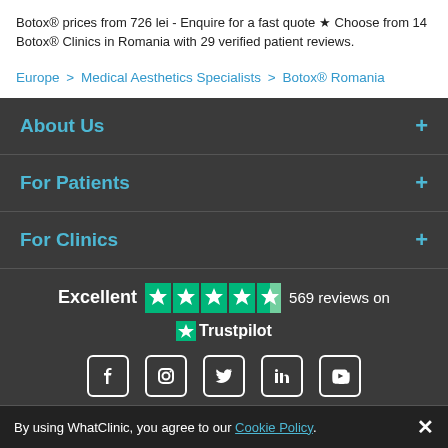Botox® prices from 726 lei - Enquire for a fast quote ★ Choose from 14 Botox® Clinics in Romania with 29 verified patient reviews.
Europe > Medical Aesthetics Specialists > Botox® Romania
About Us +
For Patients +
For Clinics +
[Figure (logo): Trustpilot rating: Excellent, 4.5 stars, 569 reviews on Trustpilot]
[Figure (infographic): Social media icons: Facebook, Instagram, Twitter, LinkedIn, YouTube]
WhatClinic Helpline +353 1 525 5101
© 2022 WhatClinic.com | Privacy Policy | Cookies Policy | Terms of Service
Global Medical Treatment Ltd trading as WhatClinic, 2 Dublin Landings, North
By using WhatClinic, you agree to our Cookie Policy. ✕